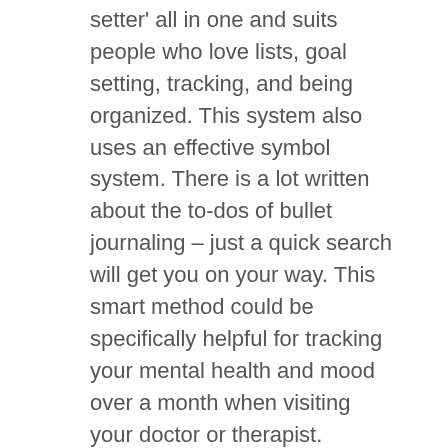setter' all in one and suits people who love lists, goal setting, tracking, and being organized. This system also uses an effective symbol system. There is a lot written about the to-dos of bullet journaling – just a quick search will get you on your way. This smart method could be specifically helpful for tracking your mental health and mood over a month when visiting your doctor or therapist.
Others might choose a gratitude journal. Counting our blessings is a wonderful way to focus our attention on the positives in our lives. Many reports acknowledge that a gratitude journal helps both physical and mental health. A template such as 'I am grateful for this _______ because_______,' helps takes our gratitude deeper. Let's start today – what three things are